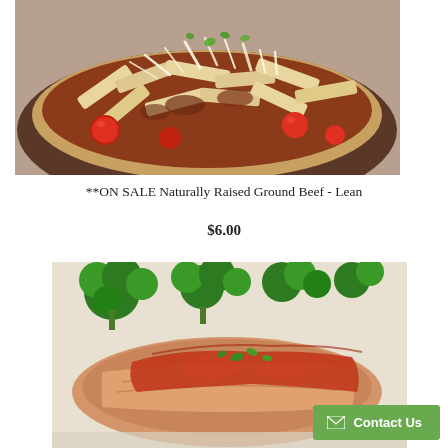[Figure (photo): Close-up photo of penne pasta bolognese with ground beef, cherry tomatoes, grated parmesan cheese, and fresh herbs on a dark plate]
**ON SALE Naturally Raised Ground Beef - Lean
$6.00
[Figure (photo): Close-up photo of grilled chicken with tomato sauce and fresh herbs, served with steamed broccoli]
Contact Us